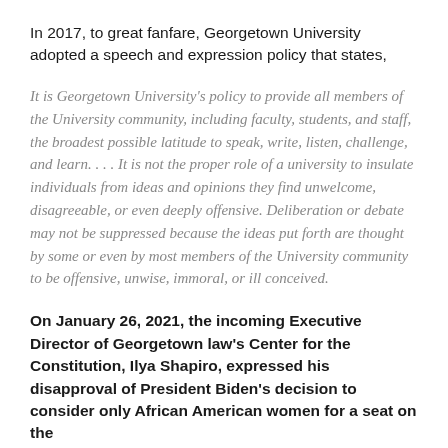In 2017, to great fanfare, Georgetown University adopted a speech and expression policy that states,
It is Georgetown University's policy to provide all members of the University community, including faculty, students, and staff, the broadest possible latitude to speak, write, listen, challenge, and learn. . . . It is not the proper role of a university to insulate individuals from ideas and opinions they find unwelcome, disagreeable, or even deeply offensive. Deliberation or debate may not be suppressed because the ideas put forth are thought by some or even by most members of the University community to be offensive, unwise, immoral, or ill conceived.
On January 26, 2021, the incoming Executive Director of Georgetown law's Center for the Constitution, Ilya Shapiro, expressed his disapproval of President Biden's decision to consider only African American women for a seat on the